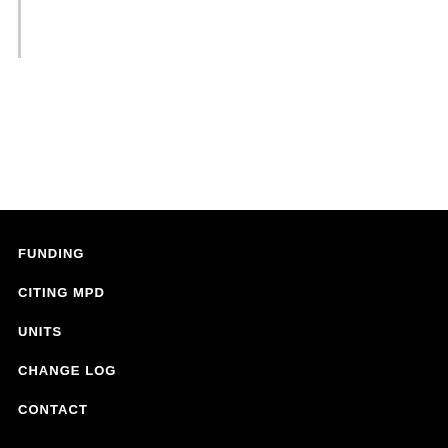FUNDING
CITING MPD
UNITS
CHANGE LOG
CONTACT